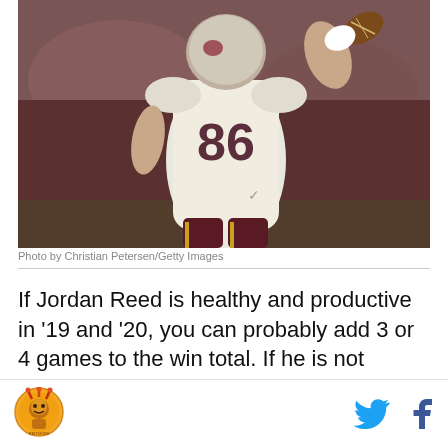[Figure (photo): Football player wearing jersey number 86 in white and burgundy uniform running with a football]
Photo by Christian Petersen/Getty Images
If Jordan Reed is healthy and productive in ‘19 and ‘20, you can probably add 3 or 4 games to the win total. If he is not healthy, then the offense is likely not to reach its potential. Jay Gruden knows how to use Reed and loves to design offensive schemes around his abilities. He is, in my opinion, the single most important on-field difference maker for the Redskins when it comes to